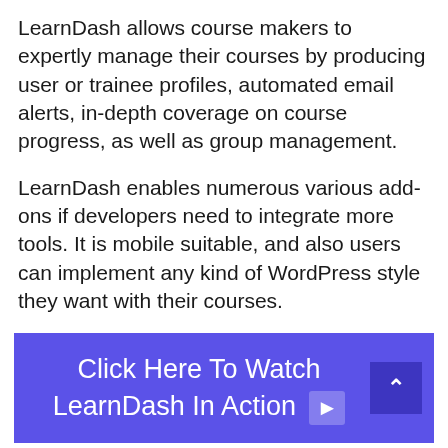LearnDash allows course makers to expertly manage their courses by producing user or trainee profiles, automated email alerts, in-depth coverage on course progress, as well as group management.
LearnDash enables numerous various add-ons if developers need to integrate more tools. It is mobile suitable, and also users can implement any kind of WordPress style they want with their courses.
[Figure (other): Blue banner button reading 'Click Here To Watch LearnDash In Action' with a play icon and a dark blue arrow box on the right]